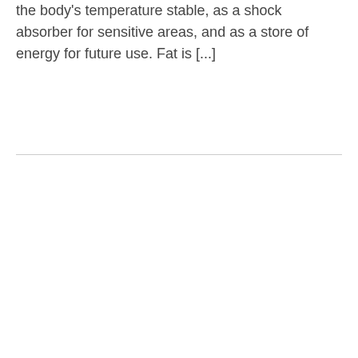the body's temperature stable, as a shock absorber for sensitive areas, and as a store of energy for future use. Fat is [...]